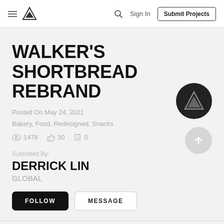Sign In | Submit Projects
WALKER'S SHORTBREAD REBRAND
Posted On May 24, 2021
Bakery, Food, Redesigned, Snacks
1478 views  30 likes  0 saves
Submitted By:
DERRICK LIN
GLOBAL